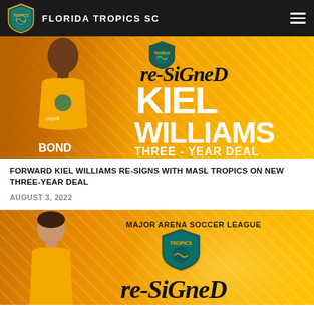FLORIDA TROPICS SC
[Figure (photo): Orange promotional graphic for Florida Tropics SC showing forward Kiel Williams in yellow jersey with text 're-signed KIEL WILLIAMS THREE - YEAR DEAL' and team logo]
FORWARD KIEL WILLIAMS RE-SIGNS WITH MASL TROPICS ON NEW THREE-YEAR DEAL
AUGUST 3, 2022
[Figure (photo): Orange promotional graphic for Florida Tropics SC showing a player re-signed, with text 'MAJOR ARENA SOCCER LEAGUE', team logo shield, and 're-signed' script text at bottom]